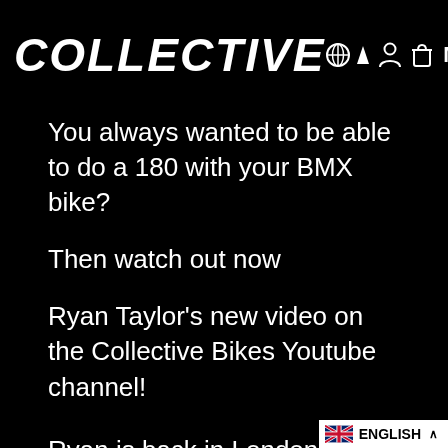COLLECTIVE  🌐 ▾  👤  🛒  MENU
You always wanted to be able to do a 180 with your BMX bike?
Then watch out now
Ryan Taylor's new video on the Collective Bikes Youtube channel!
Ryan is back in London and uses his new BMX bike, RT1 for this trick. You can do the 180 degree trick everywhere you want and it is suitable for beginners. Ryan shows you how to bring the previous trick from the last video to the next level. So check out